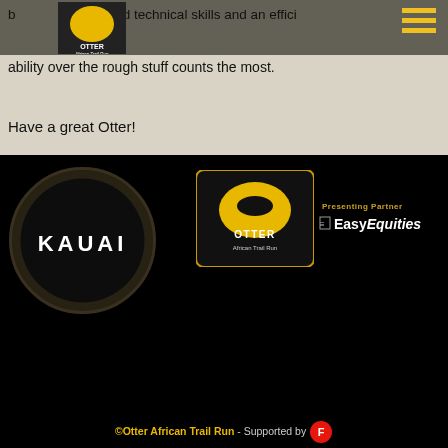business with added technical skills and an efficient ability over the rough stuff counts the most.
Have a great Otter!
[Figure (logo): KAUAI brand logo — white text 'KAUAI' inside a glowing black circle on dark background]
[Figure (logo): Otter African Trail Run logo — otter silhouette on yellow/gold circle with black background]
[Figure (logo): EasyEquities presenting partner logo with text 'Presenting Partner' and 'EasyEquities' in white on black]
©Otter African Trail Run - Supported by [F logo]